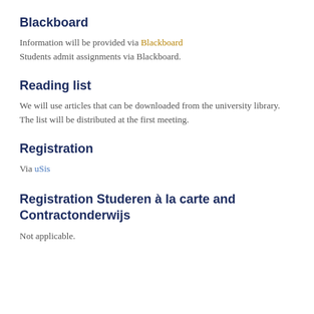Blackboard
Information will be provided via Blackboard
Students admit assignments via Blackboard.
Reading list
We will use articles that can be downloaded from the university library. The list will be distributed at the first meeting.
Registration
Via uSis
Registration Studeren à la carte and Contractonderwijs
Not applicable.